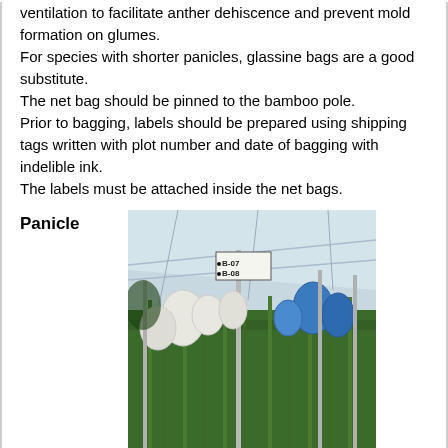ventilation to facilitate anther dehiscence and prevent mold formation on glumes. For species with shorter panicles, glassine bags are a good substitute. The net bag should be pinned to the bamboo pole. Prior to bagging, labels should be prepared using shipping tags written with plot number and date of bagging with indelible ink. The labels must be attached inside the net bags.
Panicle
[Figure (photo): Photograph of a greenhouse with tall grass plants (sugarcane or similar) having white and blue bags attached to their panicles on bamboo poles. A label reading B-07/B-08 is visible on a pole. The greenhouse has a white plastic roof.]